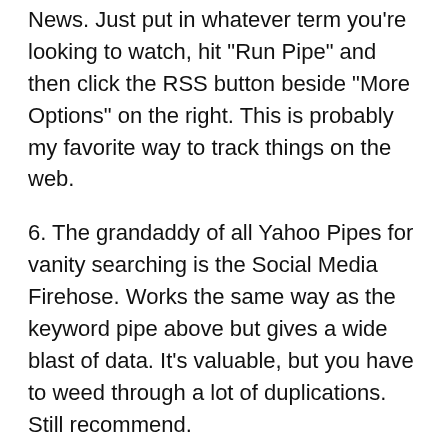News. Just put in whatever term you're looking to watch, hit “Run Pipe” and then click the RSS button beside “More Options” on the right. This is probably my favorite way to track things on the web.
6. The grandaddy of all Yahoo Pipes for vanity searching is the Social Media Firehose. Works the same way as the keyword pipe above but gives a wide blast of data. It’s valuable, but you have to weed through a lot of duplications. Still recommend.
7. While you’re at Yahoo Pipes, grab the “Twitter Reply Sniffer.” Basically, this is a way for you to stay aware of anyone that @’s you in Twitter (you’re not on Twitter? Geez). Put in the terms or names you’d like to